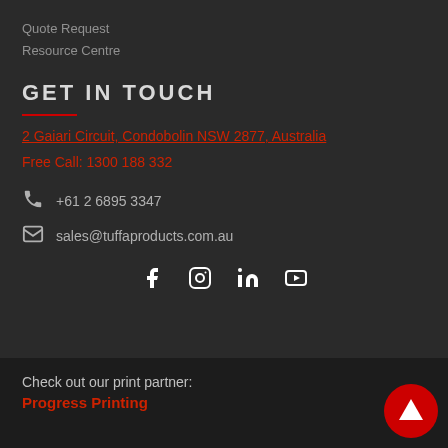Quote Request
Resource Centre
GET IN TOUCH
2 Gaiari Circuit, Condobolin NSW 2877, Australia
Free Call: 1300 188 332
+61 2 6895 3347
sales@tuffaproducts.com.au
[Figure (infographic): Social media icons: Facebook, Instagram, LinkedIn, YouTube]
Check out our print partner:
Progress Printing